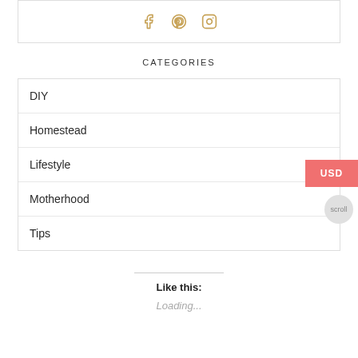[Figure (illustration): Social media icons: Facebook, Pinterest, Instagram in gold/tan color inside a bordered box]
CATEGORIES
DIY
Homestead
Lifestyle
Motherhood
Tips
Like this:
Loading...